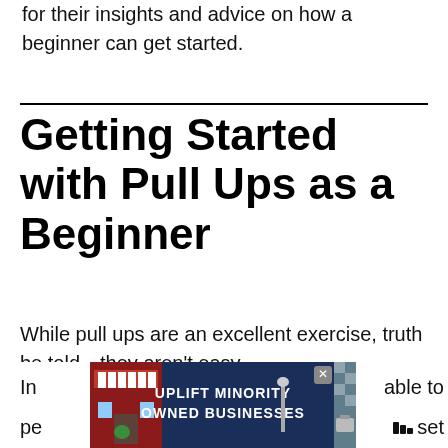for their insights and advice on how a beginner can get started.
Getting Started with Pull Ups as a Beginner
While pull ups are an excellent exercise, truth be told—they aren't easy.
[Figure (other): Advertisement banner: UPLIFT MINORITY OWNED BUSINESSES with store graphics and a close (X) button]
In ... able to pe... set